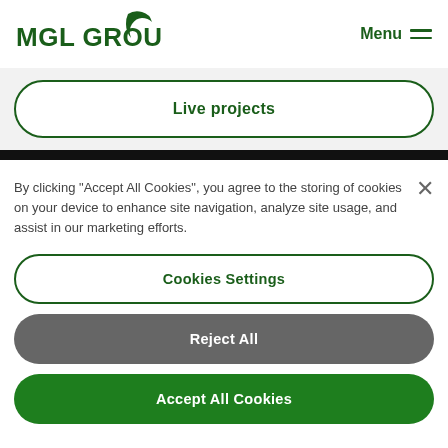[Figure (logo): MGL GROUP logo with green stylized wing/flag icon on top-right of text]
Menu
Live projects
By clicking "Accept All Cookies", you agree to the storing of cookies on your device to enhance site navigation, analyze site usage, and assist in our marketing efforts.
Cookies Settings
Reject All
Accept All Cookies